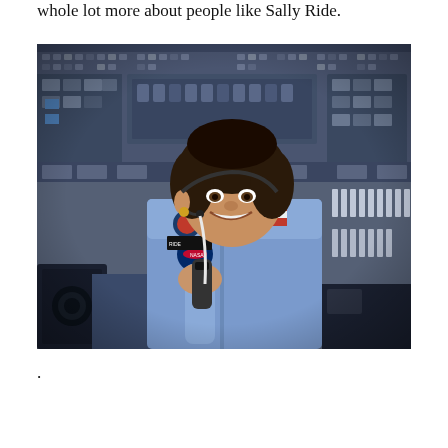whole lot more about people like Sally Ride.
[Figure (photo): Photo of Sally Ride in a blue NASA flight suit inside a spacecraft cockpit, smiling and holding a communication device up to her face. The background shows the complex instrument panels and controls of a space shuttle.]
.